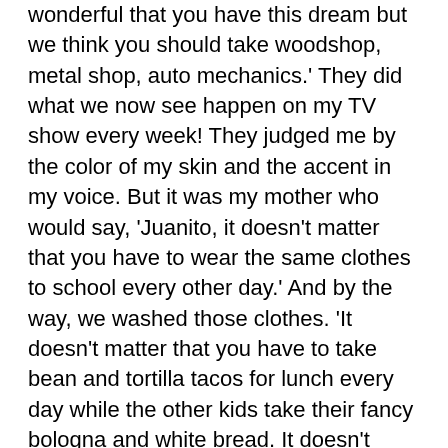wonderful that you have this dream but we think you should take woodshop, metal shop, auto mechanics.' They did what we now see happen on my TV show every week! They judged me by the color of my skin and the accent in my voice. But it was my mother who would say, 'Juanito, it doesn't matter that you have to wear the same clothes to school every other day.' And by the way, we washed those clothes. 'It doesn't matter that you have to take bean and tortilla tacos for lunch every day while the other kids take their fancy bologna and white bread. It doesn't matter.' She would say, 'What matters is what's in your heart, what's in your brain.' So thank God I had a mother like that. I devoted a chapter to her in my book.
You were the first in your family to go to college. Were you ever fearful or insecure that you could do